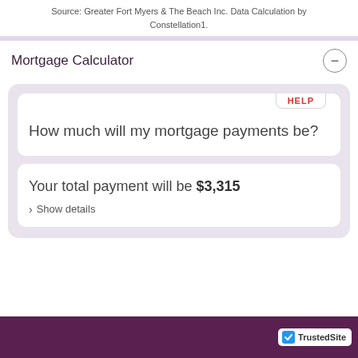Source: Greater Fort Myers & The Beach Inc. Data Calculation by Constellation1.
Mortgage Calculator
How much will my mortgage payments be?
Your total payment will be $3,315
> Show details
TrustedSite